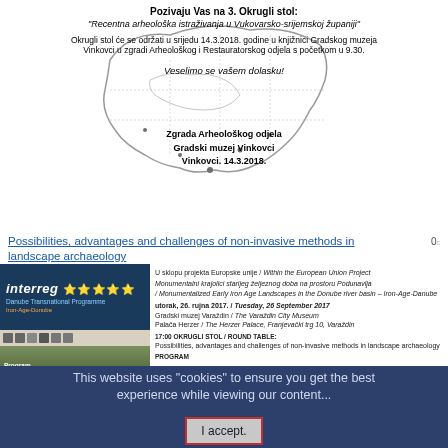[Figure (illustration): Invitation flyer with a map outline of Vukovarsko-srijemska županija region, with text overlaid inviting to a round table event on recent archaeological research, to be held on 14.3.2018 at Gradski muzej Vinkovci.]
Pozivaju Vas na 3. Okrugli stol:
"Recentna arheološka istraživanja u Vukovarsko-srijemskoj županiji"
Okrugli stol će se održati u srijedu 14.3.2018. godine u knjižnici Gradskog muzeja Vinkovci u zgradi Arheološkog i Restauratorskog odjela s početkom u 9.30.
Veselimo se vašem dolasku!
Zgrada Arheološkog odjela
Gradski muzej Vinkovci
Vinkovci. 14.3.2018.
Possibilities, advantages and challenges of non-invasive methods in landscape archaeology
[Figure (illustration): Interreg Danube Transnational Programme / Iron-Age-Donube programme card with logo, icons, and a forest landscape photo. Text reads: Program transnacionalne suradnje Dunav 2014. – 2020. Danube Transnational]
U sklopu projekta Europske unije / Within the European Union Project
Monumentalni krajolici starijeg željeznog doba na prostoru Podunavlja / Monumentalized Early Iron Age Landscapes in the Donube river basin – Iron-Age-Danube
utorak, 26. rujna 2017. / Tuesday, 26 September 2017
Gradski muzej Varaždin / The Varaždin City Museum
Palača Herzer / The Herzer Palace, Franjevački trg 10, Varaždin
17:00 OKRUGLI STOL / ROUND TABLE:
Possibilities, advantages and challenges of non-invasive methods in landscape archaeology
PROGRAM
This website uses "cookies" to ensure you get the best experience while viewing our content...
I accept.